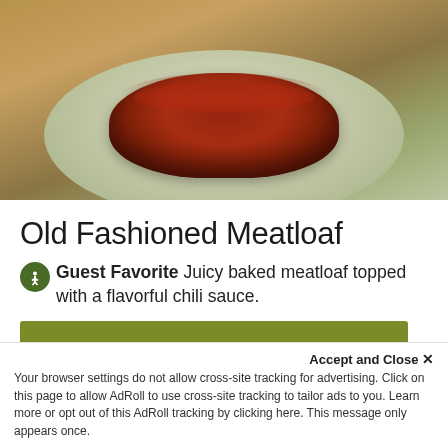[Figure (photo): Photo of Old Fashioned Meatloaf on a green plate, showing a glazed meatloaf with tomato/chili sauce topping on a light green ceramic plate against a warm brown background]
Old Fashioned Meatloaf
Guest Favorite Juicy baked meatloaf topped with a flavorful chili sauce.
GET STARTED
Accept and Close ✕
Your browser settings do not allow cross-site tracking for advertising. Click on this page to allow AdRoll to use cross-site tracking to tailor ads to you. Learn more or opt out of this AdRoll tracking by clicking here. This message only appears once.